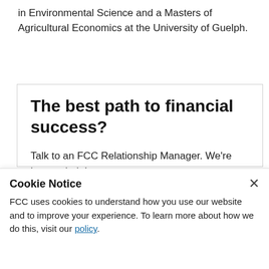in Environmental Science and a Masters of Agricultural Economics at the University of Guelph.
The best path to financial success?
Talk to an FCC Relationship Manager. We're here to help!
Cookie Notice
FCC uses cookies to understand how you use our website and to improve your experience. To learn more about how we do this, visit our policy.